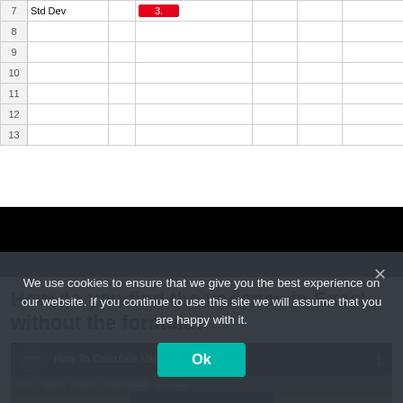[Figure (screenshot): Excel spreadsheet showing rows 7-13 with 'Std Dev' label in row 7 and a red-highlighted cell value. Rows 8-13 are empty.]
[Figure (screenshot): Black banner/ad area covering full width]
How do you find the variance in Excel without the formula?
[Figure (screenshot): YouTube video thumbnail showing 'TTB' channel logo, title 'How To Calculate Variance In Excel ...' with three-dot menu, Excel interface with green ribbon, large white 'Calculate' text on black overlay, and yellow rectangle graphics at bottom.]
We use cookies to ensure that we give you the best experience on our website. If you continue to use this site we will assume that you are happy with it.